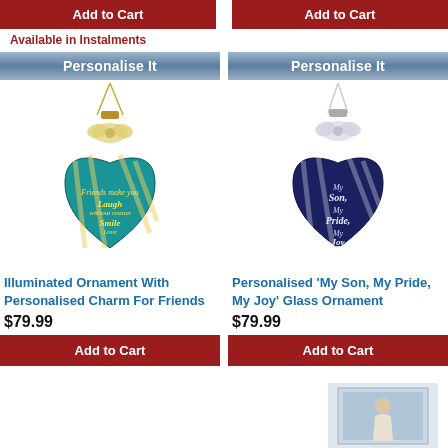[Figure (screenshot): Two 'Add to Cart' buttons at the top of the page, one for each product column]
Available in Instalments
[Figure (photo): Personalise It banner with photo of teal illuminated glass heart ornament with gold bow and personalised charm for Friends]
[Figure (photo): Personalise It banner with photo of dark blue glass heart ornament with silver bow and 'My Son, My Pride, My Joy' text]
Illuminated Ornament With Personalised Charm For Friends
Personalised 'My Son, My Pride, My Joy' Glass Ornament
$79.99
$79.99
[Figure (photo): Partial product image at bottom right, appears to be a framed picture or ornament]